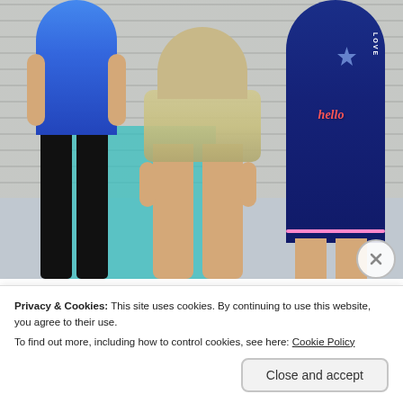[Figure (photo): Three fashion dolls/mannequins photographed from waist down standing in front of a brick wall. Left doll wears blue top and dark pants, center doll wears a sparkly skirt, right doll wears a navy blue dress with 'hello' text and 'LOVE' written on it.]
UNCATEGORIZED
Why Monday Mornings Are The Worst [The Cheer Diaries, Chapter 1]
Privacy & Cookies: This site uses cookies. By continuing to use this website, you agree to their use.
To find out more, including how to control cookies, see here: Cookie Policy
Close and accept